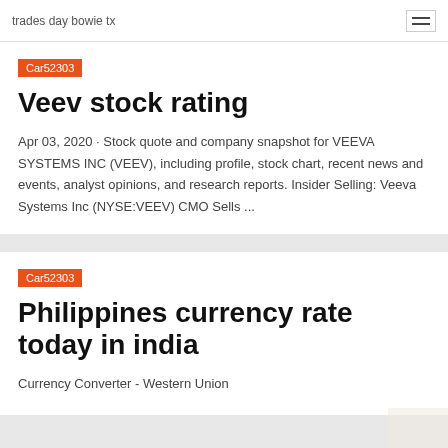trades day bowie tx
Car52303
Veev stock rating
Apr 03, 2020 · Stock quote and company snapshot for VEEVA SYSTEMS INC (VEEV), including profile, stock chart, recent news and events, analyst opinions, and research reports. Insider Selling: Veeva Systems Inc (NYSE:VEEV) CMO Sells ...
Car52303
Philippines currency rate today in india
Currency Converter - Western Union